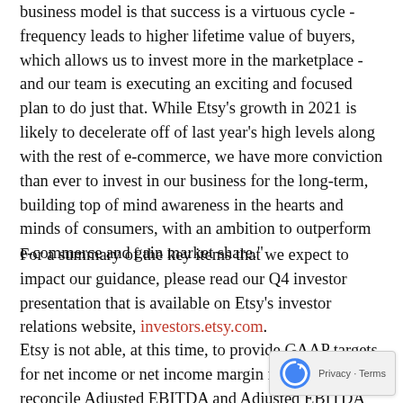business model is that success is a virtuous cycle - frequency leads to higher lifetime value of buyers, which allows us to invest more in the marketplace - and our team is executing an exciting and focused plan to do just that. While Etsy's growth in 2021 is likely to decelerate off of last year's high levels along with the rest of e-commerce, we have more conviction than ever to invest in our business for the long-term, building top of mind awareness in the hearts and minds of consumers, with an ambition to outperform e-commerce and gain market share."
For a summary of the key items that we expect to impact our guidance, please read our Q4 investor presentation that is available on Etsy's investor relations website, investors.etsy.com.
Etsy is not able, at this time, to provide GAAP targets for net income or net income margin for 2021 or to reconcile Adjusted EBITDA and Adjusted EBITDA margin to the amounts because of the unreasonable effort of estimating